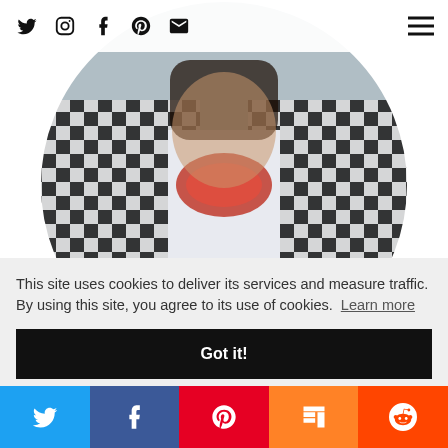[Figure (photo): Circular cropped photo of a person wearing a black and white gingham/plaid blazer over a white button-up shirt with a red bandana, dark hair visible, blurred outdoor background.]
Twitter, Instagram, Facebook, Pinterest, Email icons | Hamburger menu icon
This site uses cookies to deliver its services and measure traffic. By using this site, you agree to its use of cookies.  Learn more
Got it!
[Figure (other): Share buttons bar: Twitter (blue), Facebook (dark blue), Pinterest (red), Mix (orange), Reddit (orange-red)]